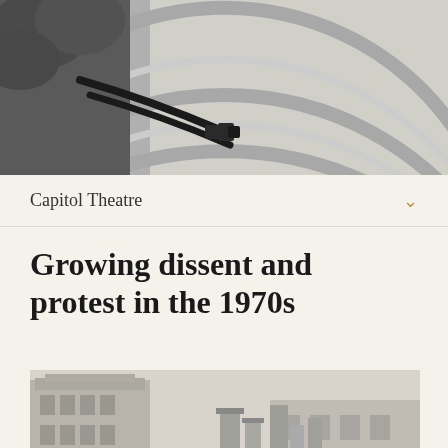[Figure (photo): Black and white aerial/overhead photo showing curved architectural steps or concentric arcs, with a street lamp and some foliage visible in the upper left corner]
Capitol Theatre
Growing dissent and protest in the 1970s
[Figure (photo): Black and white photograph of an old building with a verandah/porch, decorative lacework, and chimneys, with a taller multi-storey building visible in the background]